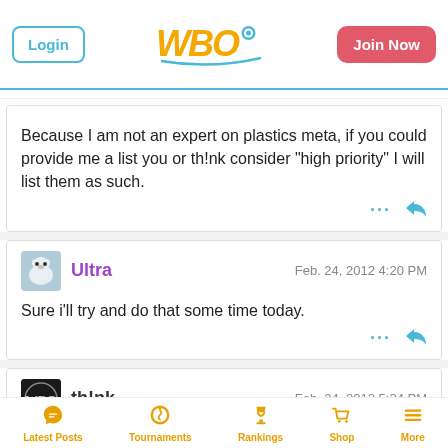Login | WBO | Join Now
Because I am not an expert on plastics meta, if you could provide me a list you or th!nk consider "high priority" I will list them as such.
Ultra  Feb. 24, 2012  4:20 PM
Sure i'll try and do that some time today.
th!nk  Feb. 24, 2012  5:24 PM
Latest Posts | Tournaments | Rankings | Shop | More